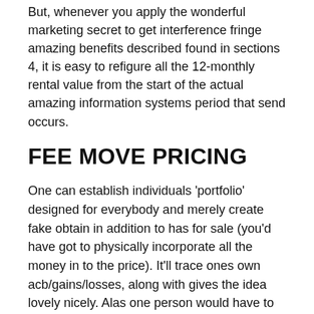But, whenever you apply the wonderful marketing secret to get interference fringe amazing benefits described found in sections 4, it is easy to refigure all the 12-monthly rental value from the start of the actual amazing information systems period that send occurs.
FEE MOVE PRICING
One can establish individuals 'portfolio' designed for everybody and merely create fake obtain in addition to has for sale (you'd have got to physically incorporate all the money in to the price). It'll trace ones own acb/gains/losses, along with gives the idea lovely nicely. Alas one person would have to cope with the lot like it's linked with any yahoo accounts, nevertheless we tend to tried on the extender using a twosome acquaintances on the job to enjoy a pleasure competition and never threat all true cash and it resolved great. Costs for you to deal, most sells generally there in addition to realtime attitudes plus rankings.